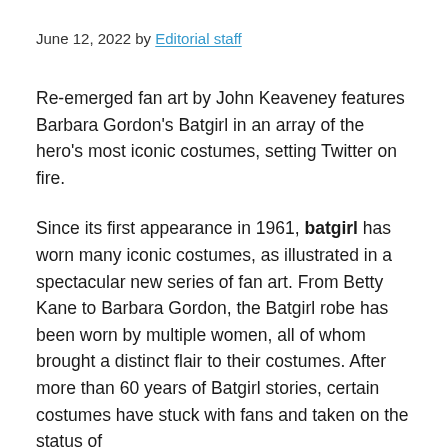June 12, 2022 by Editorial staff
Re-emerged fan art by John Keaveney features Barbara Gordon's Batgirl in an array of the hero's most iconic costumes, setting Twitter on fire.
Since its first appearance in 1961, batgirl has worn many iconic costumes, as illustrated in a spectacular new series of fan art. From Betty Kane to Barbara Gordon, the Batgirl robe has been worn by multiple women, all of whom brought a distinct flair to their costumes. After more than 60 years of Batgirl stories, certain costumes have stuck with fans and taken on the status of